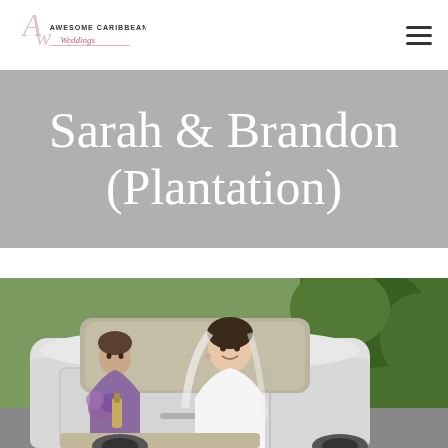Awesome Caribbean Weddings — navigation logo and menu
Sarah & Brandon (Plantation)
[Figure (photo): Wedding photo showing a bride in a white strapless gown and veil smiling inside a white limousine, with a bridesmaid in purple visible to her left holding a bouquet. Green trees visible in the background outside the car.]